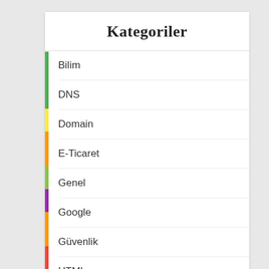Kategoriler
Bilim
DNS
Domain
E-Ticaret
Genel
Google
Güvenlik
HTML
Information Gathering – Bilgi Toplama